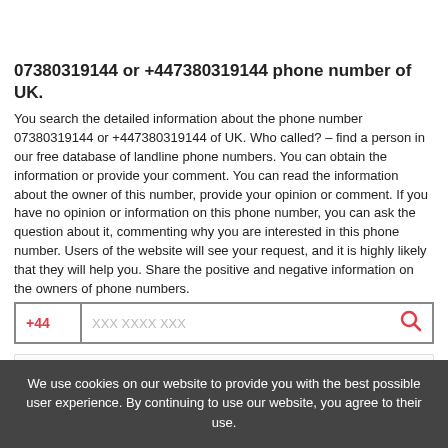07380319144 or +447380319144 phone number of UK.
You search the detailed information about the phone number 07380319144 or +447380319144 of UK. Who called? – find a person in our free database of landline phone numbers. You can obtain the information or provide your comment. You can read the information about the owner of this number, provide your opinion or comment. If you have no opinion or information on this phone number, you can ask the question about it, commenting why you are interested in this phone number. Users of the website will see your request, and it is highly likely that they will help you. Share the positive and negative information on the owners of phone numbers.
+44  XXX XXXX XXX
Alternative phone number formats:
We use cookies on our website to provide you with the best possible user experience. By continuing to use our website, you agree to their use.